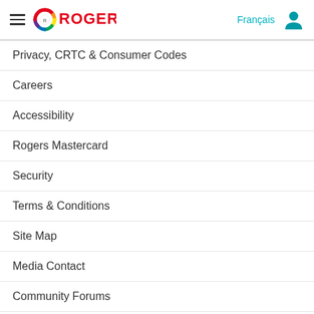Rogers — Français
Privacy, CRTC & Consumer Codes
Careers
Accessibility
Rogers Mastercard
Security
Terms & Conditions
Site Map
Media Contact
Community Forums
[Figure (other): Social media icons: Twitter, Facebook, YouTube, LinkedIn]